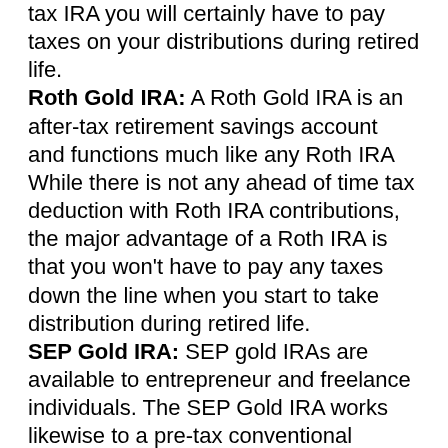tax IRA you will certainly have to pay taxes on your distributions during retired life. Roth Gold IRA: A Roth Gold IRA is an after-tax retirement savings account and functions much like any Roth IRA While there is not any ahead of time tax deduction with Roth IRA contributions, the major advantage of a Roth IRA is that you won't have to pay any taxes down the line when you start to take distribution during retired life. SEP Gold IRA: SEP gold IRAs are available to entrepreneur and freelance individuals. The SEP Gold IRA works likewise to a pre-tax conventional individual retirement account, because your payments are not taxed, but it supplies greater payment limits. Rather than the $5,500 limit, you can contribute as much as 25% of your revenue or $53,000,